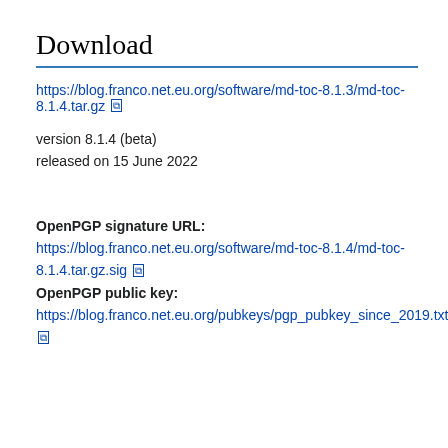Download
https://blog.franco.net.eu.org/software/md-toc-8.1.3/md-toc-8.1.4.tar.gz [external link]
version 8.1.4 (beta)
released on 15 June 2022
OpenPGP signature URL:
https://blog.franco.net.eu.org/software/md-toc-8.1.4/md-toc-8.1.4.tar.gz.sig [external link]
OpenPGP public key:
https://blog.franco.net.eu.org/pubkeys/pgp_pubkey_since_2019.txt [external link]